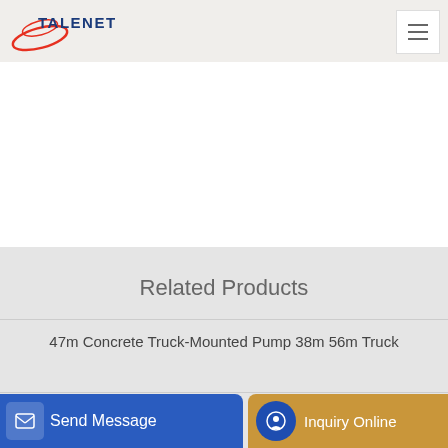[Figure (logo): Talenet company logo with swoosh graphic and text TALENET in dark blue]
Related Products
47m Concrete Truck-Mounted Pump 38m 56m Truck
line pump aptec concrete pumping
ump fa
Send Message | Inquiry Online